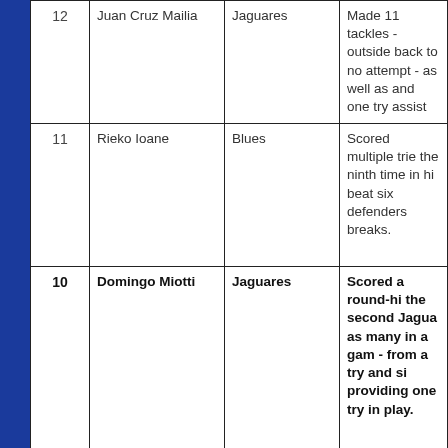| # | Name | Team | Description |
| --- | --- | --- | --- |
| 12 | Juan Cruz Mailia | Jaguares | Made 11 tackles - outside back to no attempt - as well as and one try assist |
| 11 | Rieko Ioane | Blues | Scored multiple tries the ninth time in his beat six defenders breaks. |
| 10 | Domingo Miotti | Jaguares | Scored a round-high the second Jagua as many in a game - from a try and si providing one try in play. |
| 9 | Herschel Jantjies | Stormers | Provided two try as only three players by kick; he also c own, made 5/5 ta clean breaks. |